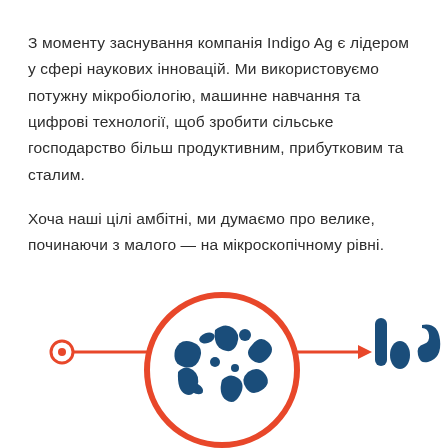З моменту заснування компанія Indigo Ag є лідером у сфері наукових інновацій. Ми використовуємо потужну мікробіологію, машинне навчання та цифрові технології, щоб зробити сільське господарство більш продуктивним, прибутковим та сталим.
Хоча наші цілі амбітні, ми думаємо про велике, починаючи з малого — на мікроскопічному рівні.
[Figure (illustration): Diagram showing a small circle with a dot (left), connected by a horizontal arrow line passing through a large circular illustration containing dark blue microorganism/bacteria shapes on white background with a red border, pointing rightward toward stylized dark blue bacteria/microbe icons on the right.]